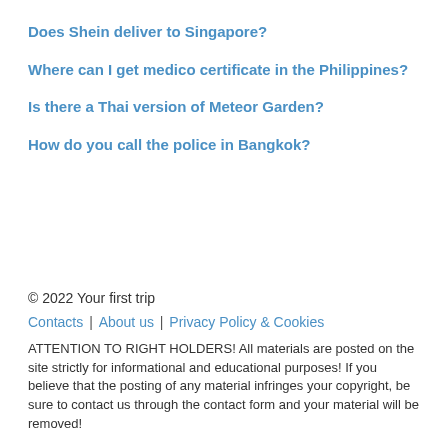Does Shein deliver to Singapore?
Where can I get medico certificate in the Philippines?
Is there a Thai version of Meteor Garden?
How do you call the police in Bangkok?
© 2022 Your first trip
Contacts | About us | Privacy Policy & Cookies
ATTENTION TO RIGHT HOLDERS! All materials are posted on the site strictly for informational and educational purposes! If you believe that the posting of any material infringes your copyright, be sure to contact us through the contact form and your material will be removed!